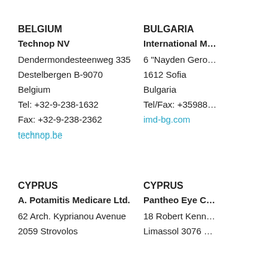BELGIUM
Technop NV
Dendermondesteenweg 335
Destelbergen B-9070
Belgium
Tel: +32-9-238-1632
Fax: +32-9-238-2362
technop.be
BULGARIA
International M…
6 "Nayden Gero…
1612 Sofia
Bulgaria
Tel/Fax: +35988…
imd-bg.com
CYPRUS
A. Potamitis Medicare Ltd.
62 Arch. Kyprianou Avenue
2059 Strovolos
CYPRUS
Pantheo Eye C…
18 Robert Kenn…
Limassol 3076 …